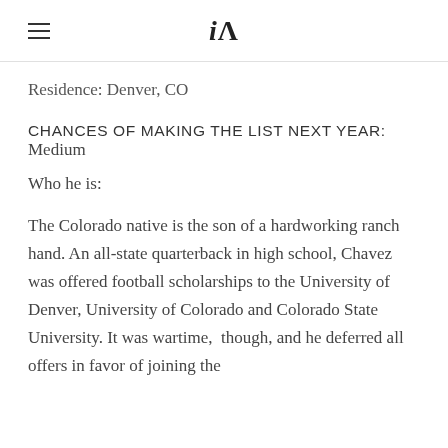iA
Residence: Denver, CO
CHANCES OF MAKING THE LIST NEXT YEAR: Medium
Who he is:
The Colorado native is the son of a hardworking ranch hand. An all-state quarterback in high school, Chavez was offered football scholarships to the University of Denver, University of Colorado and Colorado State University. It was wartime, though, and he deferred all offers in favor of joining the